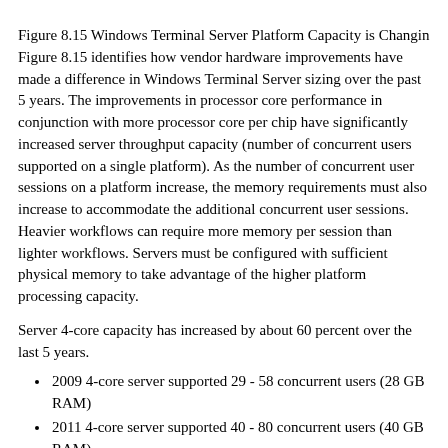Figure 8.15 Windows Terminal Server Platform Capacity is Changing
Figure 8.15 identifies how vendor hardware improvements have made a difference in Windows Terminal Server sizing over the past 5 years. The improvements in processor core performance in conjunction with more processor core per chip have significantly increased server throughput capacity (number of concurrent users supported on a single platform). As the number of concurrent user sessions on a platform increase, the memory requirements must also increase to accommodate the additional concurrent user sessions. Heavier workflows can require more memory per session than lighter workflows. Servers must be configured with sufficient physical memory to take advantage of the higher platform processing capacity.
Server 4-core capacity has increased by about 60 percent over the last 5 years.
2009 4-core server supported 29 - 58 concurrent users (28 GB RAM)
2011 4-core server supported 40 - 80 concurrent users (40 GB RAM)
2012 4-core server supported 48 - 96 concurrent users (48 GB RAM)
2012 2-core virtual server supports 19 - 38 concurrent users (24 GB RAM).